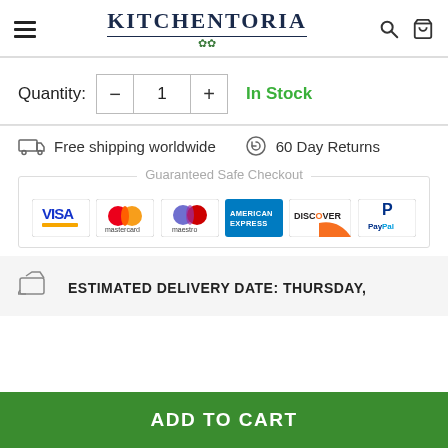KITCHENTORIA
Quantity: 1  In Stock
Free shipping worldwide   60 Day Returns
[Figure (infographic): Guaranteed Safe Checkout section with payment logos: Visa, Mastercard, Maestro, American Express, Discover, PayPal]
ESTIMATED DELIVERY DATE: THURSDAY,
ADD TO CART